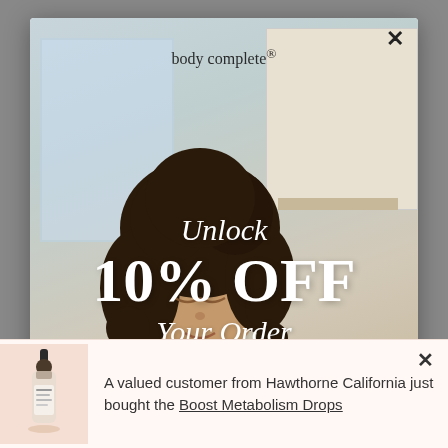[Figure (photo): Website popup modal showing a woman with curly hair in a kitchen, with Body Complete brand logo, '10% OFF Your Order' promotional text, and an email input field. Below is a toast notification with a product bottle and purchase social proof text.]
body complete®
Unlock 10% OFF Your Order
Email
A valued customer from Hawthorne California just bought the Boost Metabolism Drops